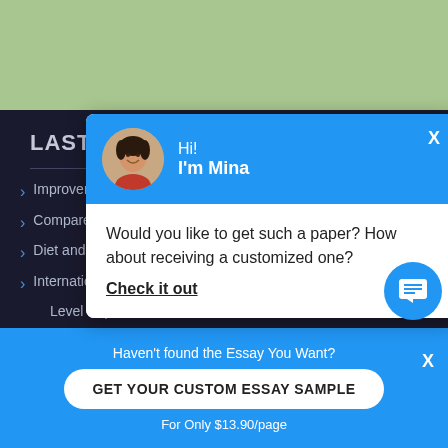[Figure (screenshot): Green header banner at top of webpage]
LAST POSTS
Improvement in Food Re...
Compare Ganstas Parad...
Diet and Health "Irritable ...
International Baccalaurea... Level Paper I
Textual Analysis About St...
[Figure (screenshot): Chat popup with avatar of Mina, blue header saying Hi! I'm Mina, and body text asking if user wants a customized paper with Check it out link]
Would you like to get such a paper? How about receiving a customized one?
Check it out
Haven't found the Essay You Want?
GET YOUR CUSTOM ESSAY SAMPLE
For Only $13.90/page